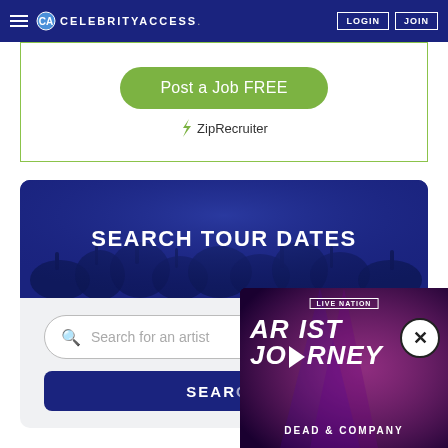CELEBRITYACCESS. LOGIN JOIN
[Figure (screenshot): ZipRecruiter ad box with green 'Post a Job FREE' button and ZipRecruiter logo]
[Figure (screenshot): Search Tour Dates banner with dark blue background and crowd silhouette]
[Figure (screenshot): Artist search input field with 'Search for an artist' placeholder and SEARCH button]
[Figure (screenshot): Live Nation popup showing 'ARTIST JOURNEY - DEAD & COMPANY' promotional image with close X button]